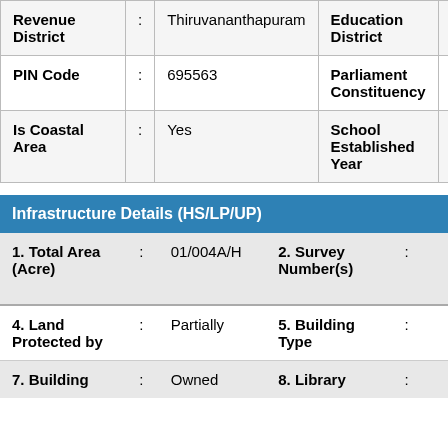| Revenue District | : | Thiruvananthapuram | Education District |  |  |
| PIN Code | : | 695563 | Parliament Constituency |  |  |
| Is Coastal Area | : | Yes | School Established Year |  |  |
Infrastructure Details (HS/LP/UP)
| 1. Total Area (Acre) | : | 01/004A/H | 2. Survey Number(s) | : |  |
| 4. Land Protected by | : | Partially | 5. Building Type | : |  |
| 7. Building | : | Owned | 8. Library | : |  |